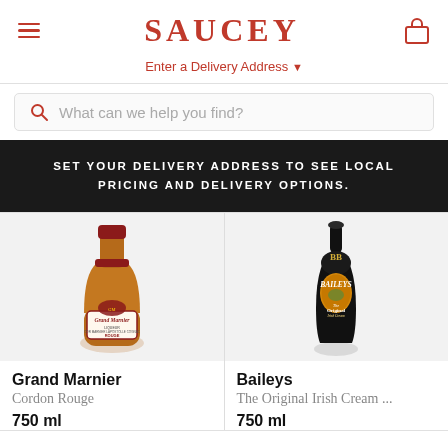SAUCEY — Enter a Delivery Address
What can we help you find?
SET YOUR DELIVERY ADDRESS TO SEE LOCAL PRICING AND DELIVERY OPTIONS.
[Figure (photo): Grand Marnier Cordon Rouge bottle, amber glass, 750ml]
Grand Marnier
Cordon Rouge
750 ml
[Figure (photo): Baileys The Original Irish Cream bottle, black bottle with gold label, 750ml]
Baileys
The Original Irish Cream ...
750 ml